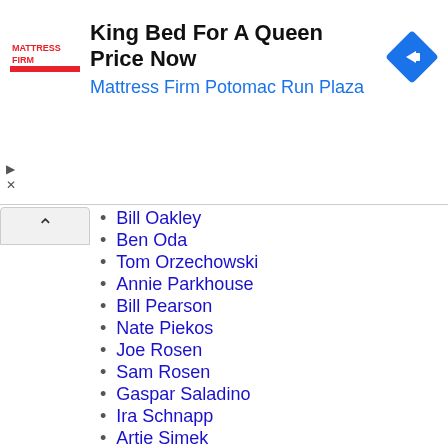[Figure (screenshot): Mattress Firm advertisement banner: logo on left, 'King Bed For A Queen Price Now' in bold black text, 'Mattress Firm Potomac Run Plaza' in blue text, blue diamond navigation icon on right]
Bill Oakley
Ben Oda
Tom Orzechowski
Annie Parkhouse
Bill Pearson
Nate Piekos
Joe Rosen
Sam Rosen
Gaspar Saladino
Ira Schnapp
Artie Simek
Richard Starkings
John Workman